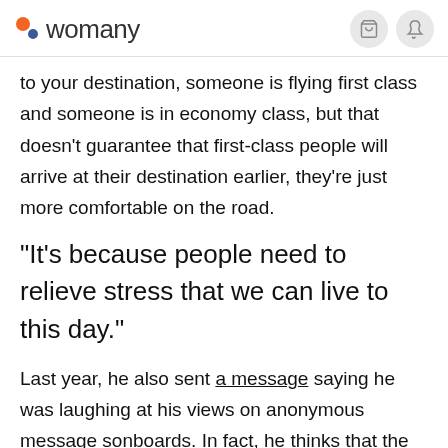womany
to your destination, someone is flying first class and someone is in economy class, but that doesn't guarantee that first-class people will arrive at their destination earlier, they're just more comfortable on the road.
"It's because people need to relieve stress that we can live to this day."
Last year, he also sent a message saying he was laughing at his views on anonymous message sonboards. In fact, he thinks that the anonymous message board is also very similar to male public